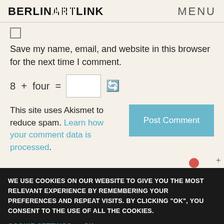BERLINARTLINK   MENU
[Figure (other): Checkbox input (unchecked)]
Save my name, email, and website in this browser for the next time I comment.
8 + four = [input field] [refresh icon]
This site uses Akismet to reduce spam. Learn how your comment data is processed.
Post Comment
WE USE COOKIES ON OUR WEBSITE TO GIVE YOU THE MOST RELEVANT EXPERIENCE BY REMEMBERING YOUR PREFERENCES AND REPEAT VISITS. BY CLICKING "OK", YOU CONSENT TO THE USE OF ALL THE COOKIES.
COOKIE SETTINGS   OK